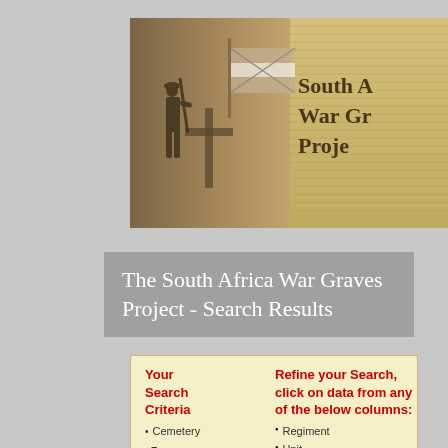[Figure (illustration): South Africa War Graves Project banner with soldier silhouette, cross, and flag against sepia background with project title text on right]
The South Africa War Graves Project - Search Results
Your Search Criteria
Refine your Search, click on data from any of the below columns:
Cemetery = PRETORIA (REBECCA STREET) CEMETERY
Regiment
Unit
Cemetery